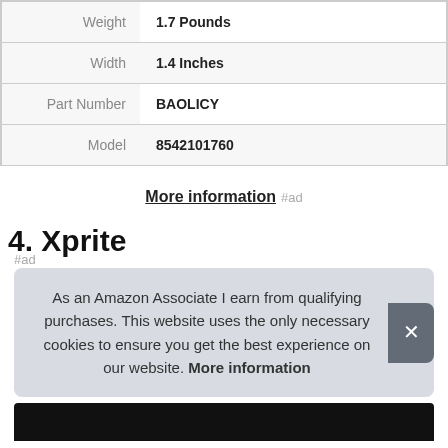| Attribute | Value |
| --- | --- |
| Weight | 1.7 Pounds |
| Width | 1.4 Inches |
| Part Number | BAOLICY |
| Model | 8542101760 |
More information #ad
4. Xprite
As an Amazon Associate I earn from qualifying purchases. This website uses the only necessary cookies to ensure you get the best experience on our website. More information